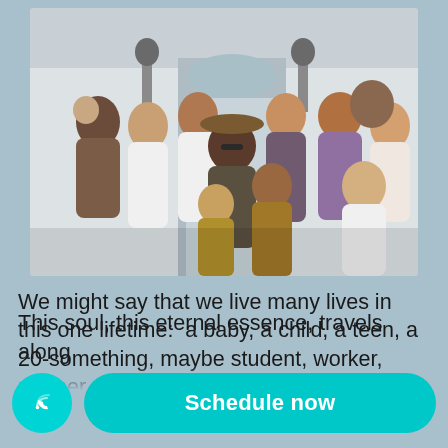[Figure (photo): A large multi-generational family posing in front of a white house door, including adults, teenagers, and young children, outdoors in daylight.]
We might say that we live many lives in this one lifetime:  a baby, a child, a teen, a 20-something, maybe student, worker, partner, parent.  Maybe [grand]... This soul, this eternal essence, travels along
[Figure (other): A teal/cyan phone call icon button (circle) and a teal 'Schedule now' pill-shaped button at the bottom of the screen.]